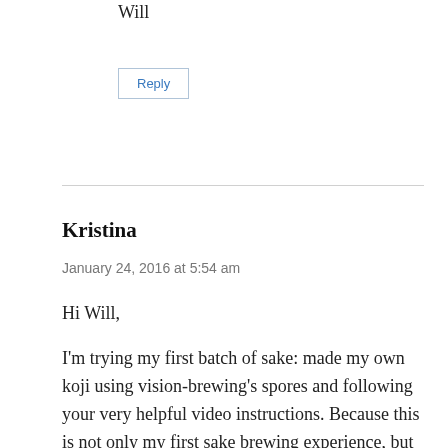Will
Reply
Kristina
January 24, 2016 at 5:54 am
Hi Will,
I'm trying my first batch of sake: made my own koji using vision-brewing's spores and following your very helpful video instructions. Because this is not only my first sake brewing experience, but my first ever brewing experience, I opted for a short...